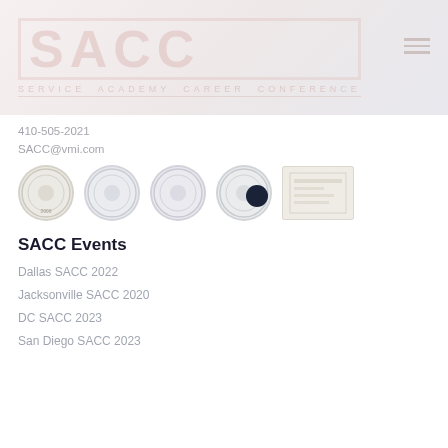SACC SERVICE ACADEMY CAREER CONFERENCE
410-505-2021
SACC@vmi.com
[Figure (logo): Row of five service academy seals and a logo: Army, Navy, Air Force, Coast Guard, and SACC institution logo. A dark dot navigation indicator is visible.]
SACC Events
Dallas SACC 2022
Jacksonville SACC 2020
DC SACC 2023
San Diego SACC 2023